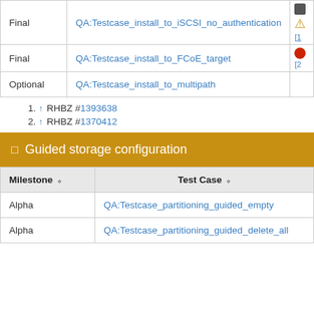|  | Milestone | Test Case |  |
| --- | --- | --- | --- |
|  | Final | QA:Testcase_install_to_iSCSI_no_authentication | [icons] |
|  | Final | QA:Testcase_install_to_FCoE_target | [icons] |
|  | Optional | QA:Testcase_install_to_multipath |  |
1. ↑ RHBZ #1393638
2. ↑ RHBZ #1370412
Guided storage configuration
| Milestone | Test Case |  |
| --- | --- | --- |
| Alpha | QA:Testcase_partitioning_guided_empty |  |
| Alpha | QA:Testcase_partitioning_guided_delete_all |  |